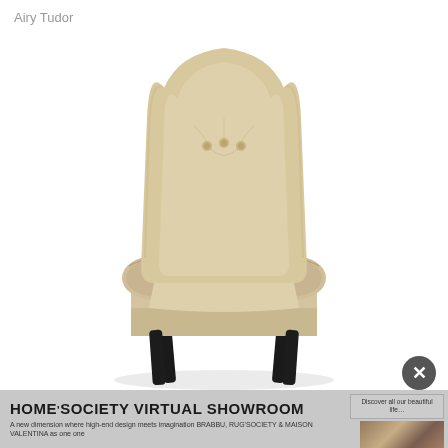Airy Tudor
[Figure (photo): Front-facing product photo of the Airy Tudor armchair upholstered in beige/champagne velvet fabric with tufted high back, rolled arms with button detail, and four dark tapered wooden legs, photographed on white background.]
HOME'SOCIETY VIRTUAL SHOWROOM
A new dimension where high-end design meets imagination BRABBU, RUG'SOCIETY & MAISON VALENTINA as one one